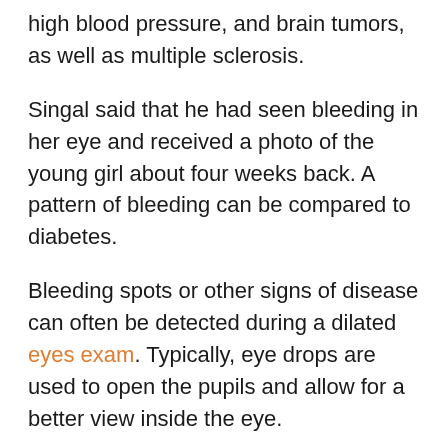high blood pressure, and brain tumors, as well as multiple sclerosis.
Singal said that he had seen bleeding in her eye and received a photo of the young girl about four weeks back. A pattern of bleeding can be compared to diabetes.
Bleeding spots or other signs of disease can often be detected during a dilated eyes exam. Typically, eye drops are used to open the pupils and allow for a better view inside the eye.
The visual field test is another check that can detect problems. It helps to determine if there are any issues with peripheral vision or side